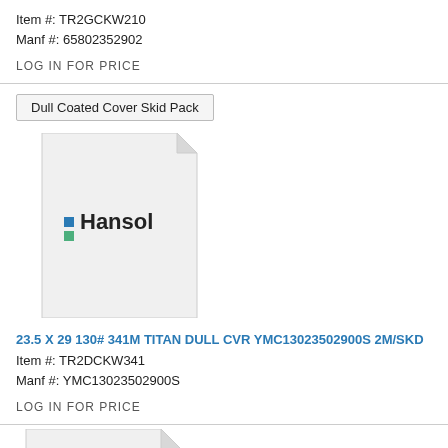Item #: TR2GCKW210
Manf #: 65802352902
LOG IN FOR PRICE
Dull Coated Cover Skid Pack
[Figure (logo): Hansol brand logo on a document/paper icon with folded top-right corner]
23.5 X 29 130# 341M TITAN DULL CVR YMC13023502900S 2M/SKD
Item #: TR2DCKW341
Manf #: YMC13023502900S
LOG IN FOR PRICE
[Figure (illustration): Partial document/paper icon with folded top-right corner, partially cut off at bottom of page]